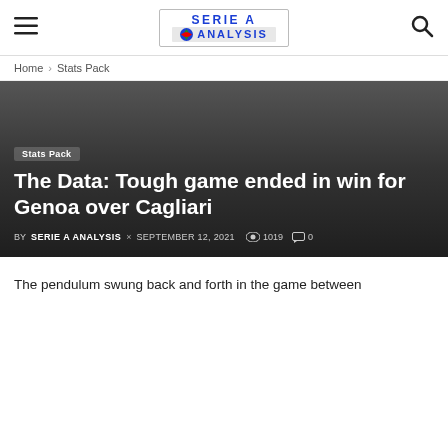SERIE A ANALYSIS
Home › Stats Pack
Stats Pack
The Data: Tough game ended in win for Genoa over Cagliari
BY SERIE A ANALYSIS × SEPTEMBER 12, 2021 👁 1019 💬 0
The pendulum swung back and forth in the game between